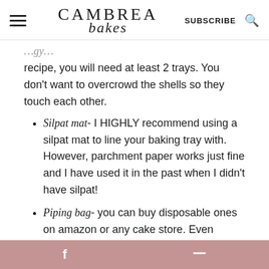CAMBREA bakes | SUBSCRIBE
recipe, you will need at least 2 trays. You don't want to overcrowd the shells so they touch each other.
Silpat mat- I HIGHLY recommend using a silpat mat to line your baking tray with. However, parchment paper works just fine and I have used it in the past when I didn't have silpat!
Piping bag- you can buy disposable ones on amazon or any cake store. Even
f  p